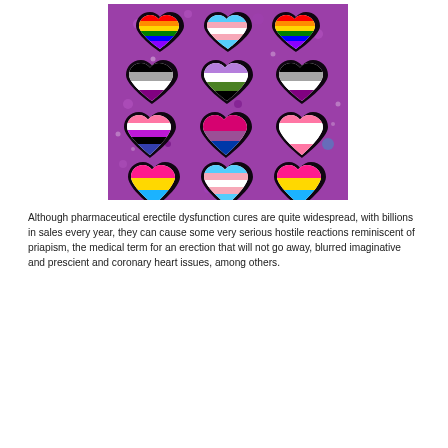[Figure (illustration): A sticker sheet with 9 heart-shaped pride flag stickers on a purple dotted background. Flags shown include: rainbow pride, transgender, rainbow, asexual/aromantic, genderqueer, asexual, genderfluid/asexual, bisexual, lipstick lesbian/genderfluid, pansexual, transgender, and pansexual flags.]
Although pharmaceutical erectile dysfunction cures are quite widespread, with billions in sales every year, they can cause some very serious hostile reactions reminiscent of priapism, the medical term for an erection that will not go away, blurred imaginative and prescient and coronary heart issues, among others.